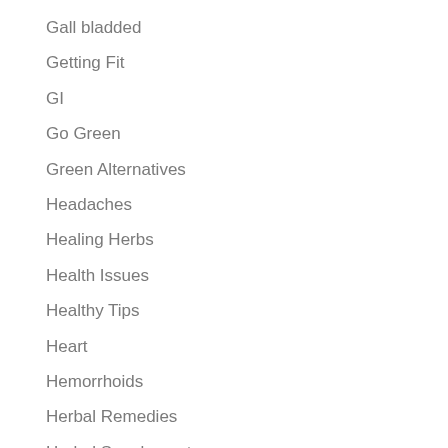Gall bladded
Getting Fit
GI
Go Green
Green Alternatives
Headaches
Healing Herbs
Health Issues
Healthy Tips
Heart
Hemorrhoids
Herbal Remedies
Herbal Supplements